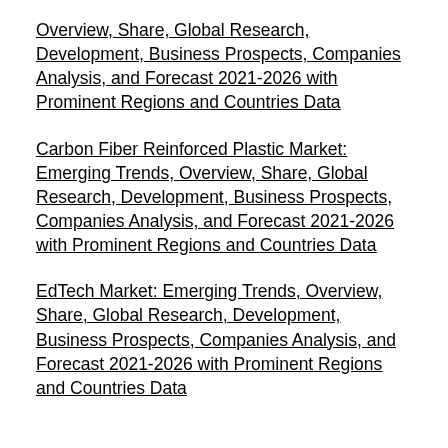Overview, Share, Global Research, Development, Business Prospects, Companies Analysis, and Forecast 2021-2026 with Prominent Regions and Countries Data
Carbon Fiber Reinforced Plastic Market: Emerging Trends, Overview, Share, Global Research, Development, Business Prospects, Companies Analysis, and Forecast 2021-2026 with Prominent Regions and Countries Data
EdTech Market: Emerging Trends, Overview, Share, Global Research, Development, Business Prospects, Companies Analysis, and Forecast 2021-2026 with Prominent Regions and Countries Data